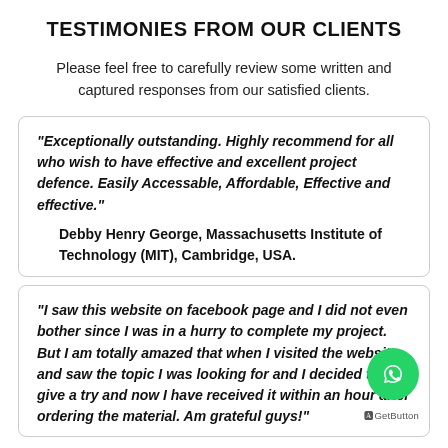TESTIMONIES FROM OUR CLIENTS
Please feel free to carefully review some written and captured responses from our satisfied clients.
"Exceptionally outstanding. Highly recommend for all who wish to have effective and excellent project defence. Easily Accessable, Affordable, Effective and effective." Debby Henry George, Massachusetts Institute of Technology (MIT), Cambridge, USA.
"I saw this website on facebook page and I did not even bother since I was in a hurry to complete my project. But I am totally amazed that when I visited the website and saw the topic I was looking for and I decided to give a try and now I have received it within an hour after ordering the material. Am grateful guys!"